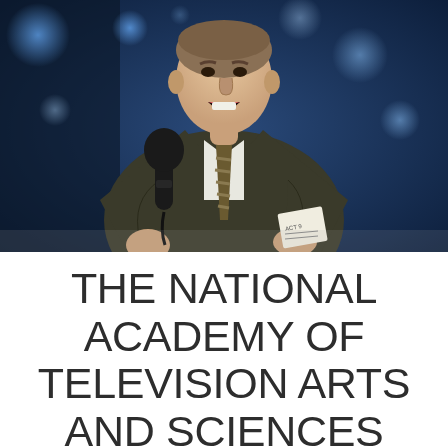[Figure (photo): A man in a dark suit and striped tie holding a microphone and papers, speaking on stage against a blurred blue bokeh background]
THE NATIONAL ACADEMY OF TELEVISION ARTS AND SCIENCES ANNOUNCES THE NOMINEES